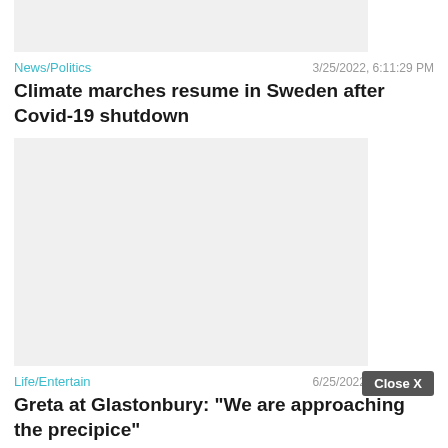[Figure (other): Gray placeholder image area at top]
News/Politics    3/25/2022, 6:11:29 PM
Climate marches resume in Sweden after Covid-19 shutdown
[Figure (other): Gray placeholder image area]
Life/Entertain    6/25/2022, 8:58:58 PM
Greta at Glastonbury: "We are approaching the precipice"